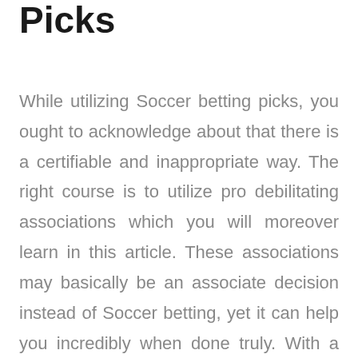Picks
While utilizing Soccer betting picks, you ought to acknowledge about that there is a certifiable and inappropriate way. The right course is to utilize pro debilitating associations which you will moreover learn in this article. These associations may basically be an associate decision instead of Soccer betting, yet it can help you incredibly when done truly. With a specialist handicapper doing your Soccer picks, you do not have to accomplish